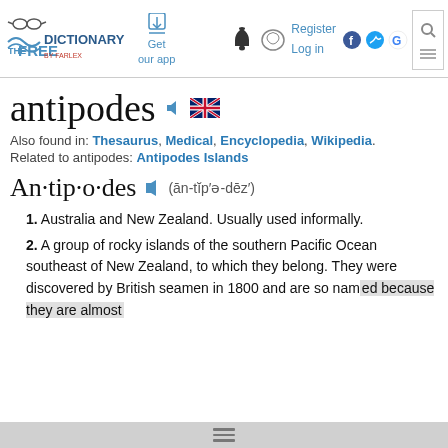The Free Dictionary by Farlex — Get our app — Register Log in
antipodes
Also found in: Thesaurus, Medical, Encyclopedia, Wikipedia.
Related to antipodes: Antipodes Islands
An·tip·o·des (ān-tĭpʹə-dēzʹ)
1. Australia and New Zealand. Usually used informally.
2. A group of rocky islands of the southern Pacific Ocean southeast of New Zealand, to which they belong. They were discovered by British seamen in 1800 and are so named because they are almost